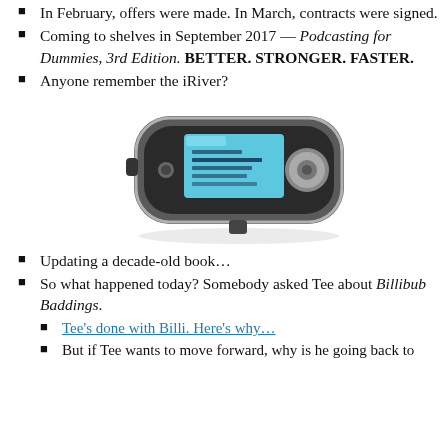In February, offers were made. In March, contracts were signed.
Coming to shelves in September 2017 — Podcasting for Dummies, 3rd Edition. BETTER. STRONGER. FASTER.
Anyone remember the iRiver?
[Figure (photo): Photo of an iRiver portable digital audio player device, silver and black, with a small LCD screen showing a menu.]
Updating a decade-old book…
So what happened today? Somebody asked Tee about Billibub Baddings.
Tee's done with Billi. Here's why…
But if Tee wants to move forward, why is he going back to